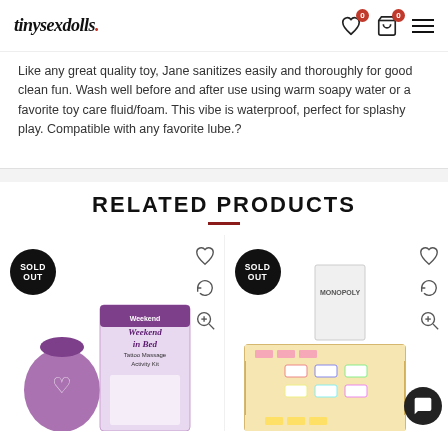tinysexdolls.
Like any great quality toy, Jane sanitizes easily and thoroughly for good clean fun. Wash well before and after use using warm soapy water or a favorite toy care fluid/foam. This vibe is waterproof, perfect for splashy play. Compatible with any favorite lube.?
RELATED PRODUCTS
[Figure (photo): Product card 1 with 'SOLD OUT' badge, showing a purple drawstring bag and 'Weekend in Bed Tattoo Massage Activity Kit' product box. Heart, refresh, and zoom icons on the right.]
[Figure (photo): Product card 2 with 'SOLD OUT' badge, showing a Monopoly-style board game with playing pieces. Heart, refresh, and zoom icons on the right.]